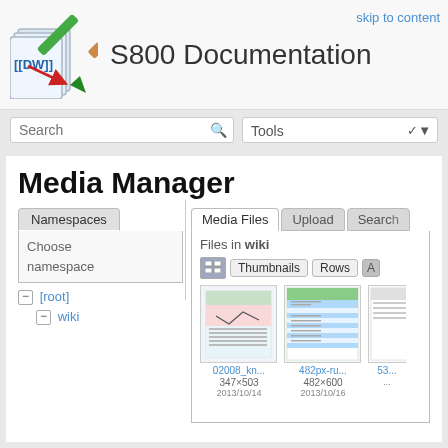S800 Documentation
skip to content
Media Manager
Namespaces
Media Files  Upload  Search
Choose namespace
Files in wiki
Thumbnails  Rows
− [root]
− wiki
[Figure (screenshot): Thumbnail image labeled 02008_kn...]
02008_kn...
347×503
[Figure (screenshot): Thumbnail image labeled 482px-ru...]
482px-ru...
482×600
53...